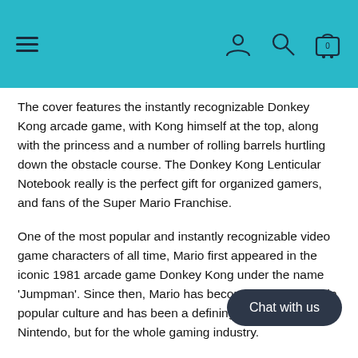Navigation header with hamburger menu, user icon, search icon, and cart icon
The cover features the instantly recognizable Donkey Kong arcade game, with Kong himself at the top, along with the princess and a number of rolling barrels hurtling down the obstacle course. The Donkey Kong Lenticular Notebook really is the perfect gift for organized gamers, and fans of the Super Mario Franchise.
One of the most popular and instantly recognizable video game characters of all time, Mario first appeared in the iconic 1981 arcade game Donkey Kong under the name 'Jumpman'. Since then, Mario has become a legend within popular culture and has been a defining figure not just for Nintendo, but for the whole gaming industry.
Since hitting the big time with Super Mario has had huge success with other installments such as